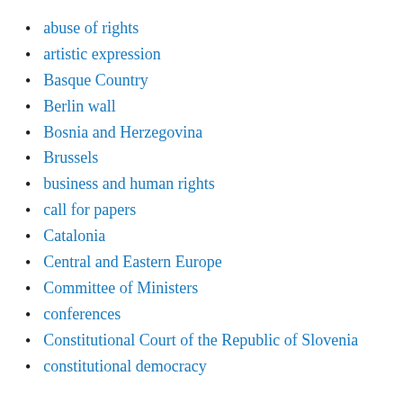abuse of rights
artistic expression
Basque Country
Berlin wall
Bosnia and Herzegovina
Brussels
business and human rights
call for papers
Catalonia
Central and Eastern Europe
Committee of Ministers
conferences
Constitutional Court of the Republic of Slovenia
constitutional democracy